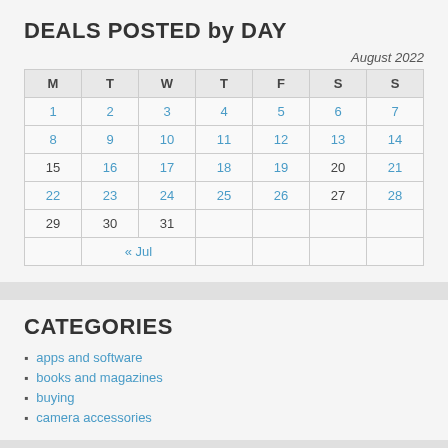DEALS POSTED by DAY
| M | T | W | T | F | S | S |
| --- | --- | --- | --- | --- | --- | --- |
| 1 | 2 | 3 | 4 | 5 | 6 | 7 |
| 8 | 9 | 10 | 11 | 12 | 13 | 14 |
| 15 | 16 | 17 | 18 | 19 | 20 | 21 |
| 22 | 23 | 24 | 25 | 26 | 27 | 28 |
| 29 | 30 | 31 |  |  |  |  |
| « Jul |  |  |  |  |  |  |
CATEGORIES
apps and software
books and magazines
buying
camera accessories